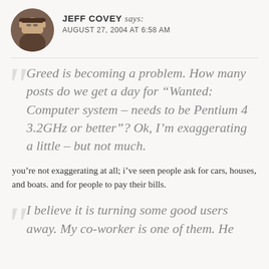JEFF COVEY says: AUGUST 27, 2004 AT 6:58 AM
Greed is becoming a problem. How many posts do we get a day for “Wanted: Computer system – needs to be Pentium 4 3.2GHz or better”? Ok, I’m exaggerating a little – but not much.
you’re not exaggerating at all; i’ve seen people ask for cars, houses, and boats. and for people to pay their bills.
I believe it is turning some good users away. My co-worker is one of them. He